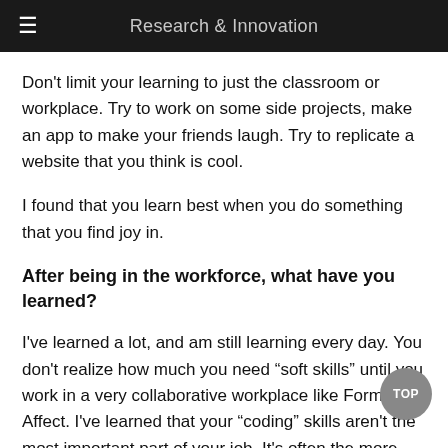Research & Innovation
Don't limit your learning to just the classroom or workplace. Try to work on some side projects, make an app to make your friends laugh. Try to replicate a website that you think is cool.
I found that you learn best when you do something that you find joy in.
After being in the workforce, what have you learned?
I've learned a lot, and am still learning every day. You don't realize how much you need “soft skills” until you work in a very collaborative workplace like Form & Affect. I've learned that your “coding” skills aren't the most important part of your job. It's often the more intangible things like how you work with other people,